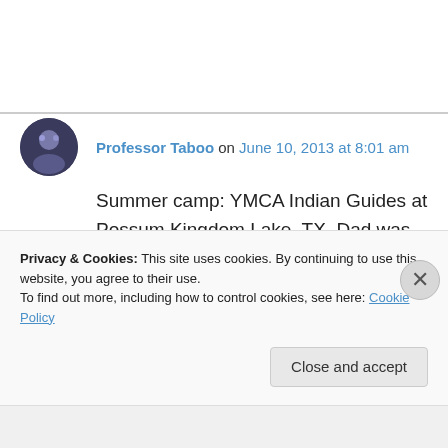Professor Taboo on June 10, 2013 at 8:01 am
Summer camp: YMCA Indian Guides at Possum Kingdom Lake, TX. Dad was Big Owl, me Little Owl. As true respectable Native Americans, Karankawa tribe, no Euro-American foods allowed! We hunted or fished for our meals....when we weren't in their cafeteria. So does fresh sushi or deer. rabbit. squirrel. etc.
Privacy & Cookies: This site uses cookies. By continuing to use this website, you agree to their use.
To find out more, including how to control cookies, see here: Cookie Policy
Close and accept